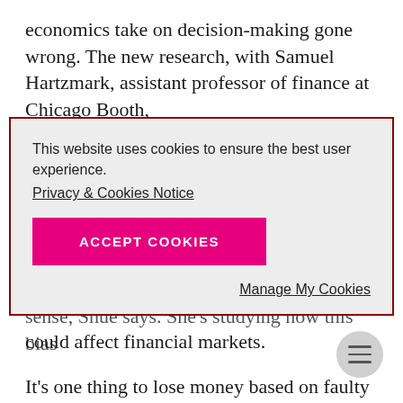economics take on decision-making gone wrong. The new research, with Samuel Hartzmark, assistant professor of finance at Chicago Booth,
[Figure (screenshot): Cookie consent dialog box with dark red border on grey background. Contains text 'This website uses cookies to ensure the best user experience.', a 'Privacy & Cookies Notice' underlined link, a magenta 'ACCEPT COOKIES' button, and a 'Manage My Cookies' underlined link aligned to the right.]
sense, Shue says. She's studying how this bias could affect financial markets.
It's one thing to lose money based on faulty logic,